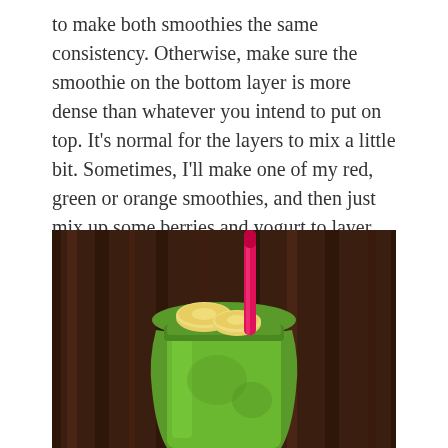to make both smoothies the same consistency. Otherwise, make sure the smoothie on the bottom layer is more dense than whatever you intend to put on top. It's normal for the layers to mix a little bit. Sometimes, I'll make one of my red, green or orange smoothies, and then just mix up some berries and yogurt to layer on top. This is a quick alternative to making two different and more involved smoothies.
[Figure (photo): A green smoothie in a glass mason-jar-style cup, overflowing with green liquid, topped with banana slices, and a bright pink straw sticking out, set against a dark wood background.]